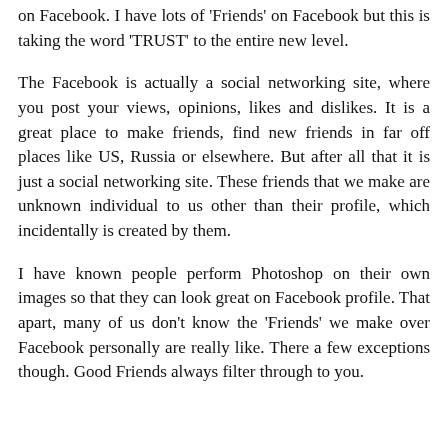on Facebook. I have lots of 'Friends' on Facebook but this is taking the word 'TRUST' to the entire new level.
The Facebook is actually a social networking site, where you post your views, opinions, likes and dislikes. It is a great place to make friends, find new friends in far off places like US, Russia or elsewhere. But after all that it is just a social networking site. These friends that we make are unknown individual to us other than their profile, which incidentally is created by them.
I have known people perform Photoshop on their own images so that they can look great on Facebook profile. That apart, many of us don't know the 'Friends' we make over Facebook personally are really like. There a few exceptions though. Good Friends always filter through to you.